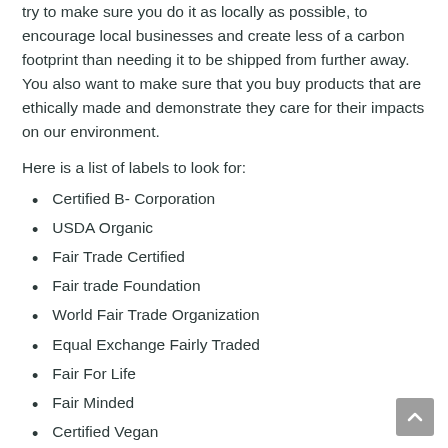try to make sure you do it as locally as possible, to encourage local businesses and create less of a carbon footprint than needing it to be shipped from further away. You also want to make sure that you buy products that are ethically made and demonstrate they care for their impacts on our environment.
Here is a list of labels to look for:
Certified B- Corporation
USDA Organic
Fair Trade Certified
Fair trade Foundation
World Fair Trade Organization
Equal Exchange Fairly Traded
Fair For Life
Fair Minded
Certified Vegan
Responsible Down Standard Certified